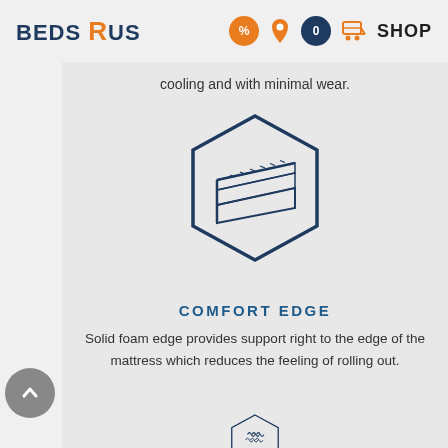BEDS R US  SHOP
cooling and with minimal wear.
[Figure (illustration): Hexagonal icon showing a cross-section of a mattress with layered foam, dark navy outline on light gray background]
COMFORT EDGE
Solid foam edge provides support right to the edge of the mattress which reduces the feeling of rolling out.
[Figure (illustration): Partial hexagonal icon showing wind/heat wave lines, dark navy outline on light gray background, cropped at bottom of page]